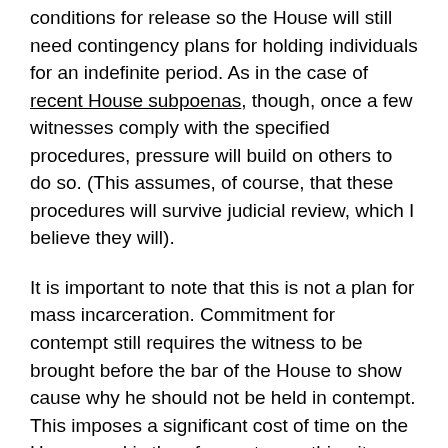conditions for release so the House will still need contingency plans for holding individuals for an indefinite period. As in the case of recent House subpoenas, though, once a few witnesses comply with the specified procedures, pressure will build on others to do so. (This assumes, of course, that these procedures will survive judicial review, which I believe they will).
It is important to note that this is not a plan for mass incarceration. Commitment for contempt still requires the witness to be brought before the bar of the House to show cause why he should not be held in contempt. This imposes a significant cost of time on the House, and is therefore not something it can do lightly or often.
Finally, for reasons we have discussed such a procedure will be more resistant to any type of judicial